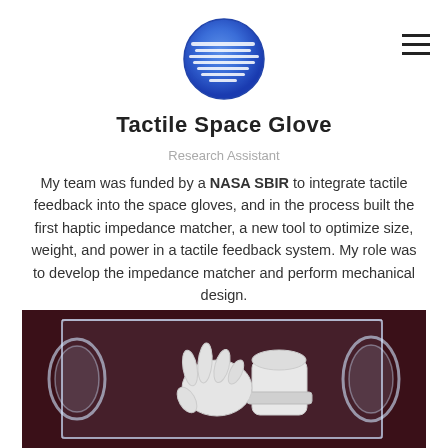[Figure (logo): Circular logo with blue gradient globe/planet design with white horizontal lines]
Tactile Space Glove
Research Assistant
My team was funded by a NASA SBIR to integrate tactile feedback into the space gloves, and in the process built the first haptic impedance matcher, a new tool to optimize size, weight, and power in a tactile feedback system. My role was to develop the impedance matcher and perform mechanical design.
[Figure (photo): Photo of a white space glove inside a clear acrylic box/container with circular port openings, displayed against a dark red/maroon background]